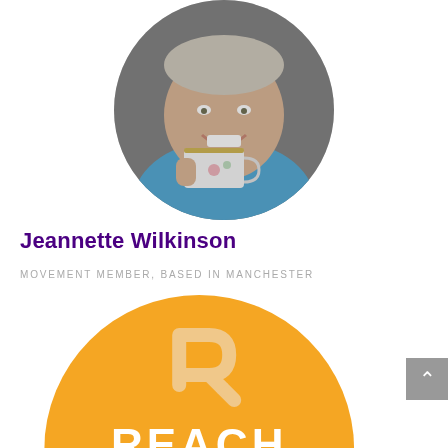[Figure (photo): Circular profile photo of Jeannette Wilkinson, a person smiling and holding a white teacup with floral design, wearing a blue top]
Jeannette Wilkinson
MOVEMENT MEMBER, BASED IN MANCHESTER
[Figure (logo): REACH logo - orange circle with stylized R arrow icon and text 'REACH' in white bold letters, subtitle 'Pastoral and RE support for schools' in white italic, and partial Scripture Union logo at bottom]